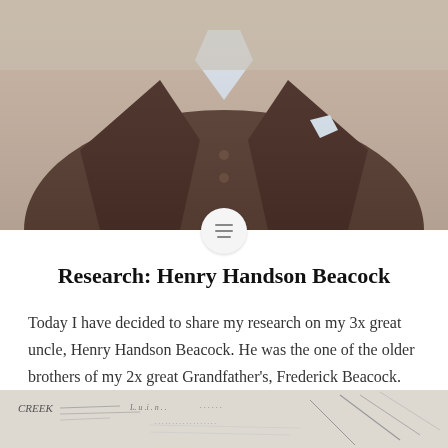[Figure (photo): Sepia-toned photograph of a man wearing a dark brown jacket with white pocket square, cropped to show torso and lower face only.]
Research: Henry Handson Beacock
Today I have decided to share my research on my 3x great uncle, Henry Handson Beacock. He was the one of the older brothers of my 2x great Grandfather's, Frederick Beacock. He was part of the first generation of the Beacock family to be born in Hull, after his father moved over from Lincolnshire in the 1860s. Read his story here!
[Figure (photo): Partially visible historical document or map at the bottom of the page, appears to show handwritten or printed text.]